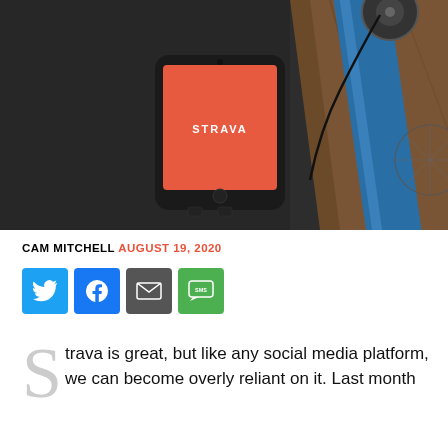[Figure (photo): A smartphone showing the Strava app (red screen with STRAVA logo) placed on a dark surface next to a blue bicycle frame and wheel]
CAM MITCHELL  AUGUST 19, 2020
[Figure (infographic): Social sharing buttons: Twitter (blue), Facebook (blue), Email (grey), SMS (green)]
Strava is great, but like any social media platform, we can become overly reliant on it. Last month